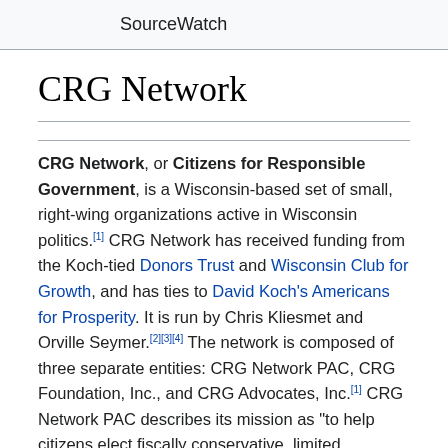SourceWatch
CRG Network
CRG Network, or Citizens for Responsible Government, is a Wisconsin-based set of small, right-wing organizations active in Wisconsin politics.[1] CRG Network has received funding from the Koch-tied Donors Trust and Wisconsin Club for Growth, and has ties to David Koch's Americans for Prosperity. It is run by Chris Kliesmet and Orville Seymer.[2][3][4] The network is composed of three separate entities: CRG Network PAC, CRG Foundation, Inc., and CRG Advocates, Inc.[1] CRG Network PAC describes its mission as "to help citizens elect fiscally conservative, limited government...